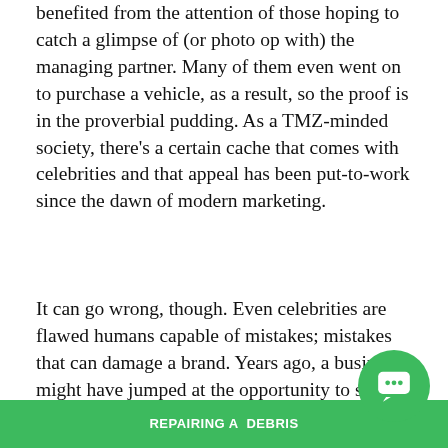benefited from the attention of those hoping to catch a glimpse of (or photo op with) the managing partner. Many of them even went on to purchase a vehicle, as a result, so the proof is in the proverbial pudding. As a TMZ-minded society, there's a certain cache that comes with celebrities and that appeal has been put-to-work since the dawn of modern marketing.
It can go wrong, though. Even celebrities are flawed humans capable of mistakes; mistakes that can damage a brand. Years ago, a business might have jumped at the opportunity to score Bill Cosby, Michael Vick or Matt Lauer for a celebrity endorsement. Times change.
But with 2019 edging around the corner (more quickly than most of us are comfortable with) any marketer worth their salt is advocating a shift against the current. Aside from the fact that any number of recent events have forced question ourselves for placing celebrities upon a pedestal,
[Figure (other): Green chat widget button in bottom right corner, and a green bar at the bottom with text 'REPAIRING ADEBRIS']